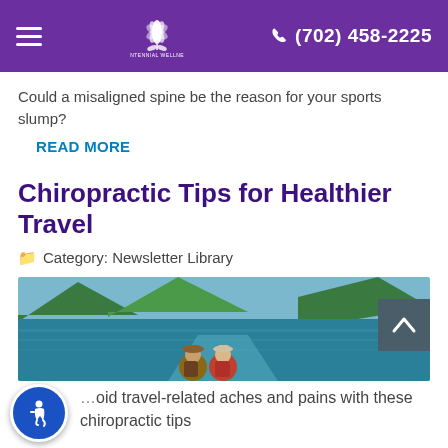Centennial Wellness Center — (702) 458-2225
Could a misaligned spine be the reason for your sports slump?
READ MORE
Chiropractic Tips for Healthier Travel
Category: Newsletter Library
[Figure (photo): Two travelers with backpacks viewed from behind, standing at the edge of a turquoise mountain lake with mountains and green hills in the background.]
oid travel-related aches and pains with these chiropractic tips